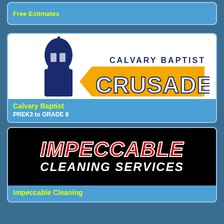Free Estimates
[Figure (logo): Calvary Baptist School Crusaders logo — blue and gold with knight face silhouette]
Calvary Baptist
PREK3 to GRADE 8
[Figure (logo): Impeccable Cleaning Services logo — red Impeccable text with white stroke on black background, white CLEANING SERVICES below]
Impeccable Cleaning